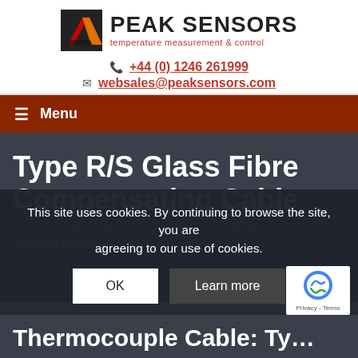[Figure (logo): Peak Sensors logo with stylized red/orange/black chevron icon and company name 'PEAK SENSORS' with tagline 'temperature measurement & control']
+44 (0) 1246 261999
websales@peaksensors.com
Menu
Type R/S Glass Fibre Compensating Cable
You are here: Home / Equipment and Component Online Store / Resistance Thermometer & Thermocouple Cables /
This site uses cookies. By continuing to browse the site, you are agreeing to our use of cookies.
OK
Learn more
Thermocouple Cable: Ty...